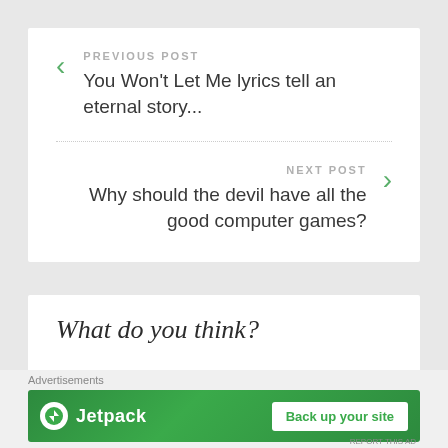PREVIOUS POST
You Won't Let Me lyrics tell an eternal story...
NEXT POST
Why should the devil have all the good computer games?
What do you think?
Advertisements
[Figure (other): Jetpack advertisement banner with logo and 'Back up your site' button on green background]